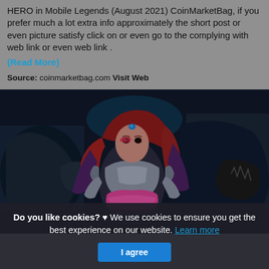HERO in Mobile Legends (August 2021) CoinMarketBag, if you prefer much a lot extra info approximately the short post or even picture satisfy click on or even go to the complying with web link or even web link .
(Read More)
Source: coinmarketbag.com Visit Web
[Figure (illustration): A Mobile Legends game character illustration showing a female character with red/pink hair wearing dark fantasy armor, alongside a dark monster creature. The image has a dark, dramatic color palette with purple and teal tones.]
Do you like cookies? ♥ We use cookies to ensure you get the best experience on our website. Learn more
I agree